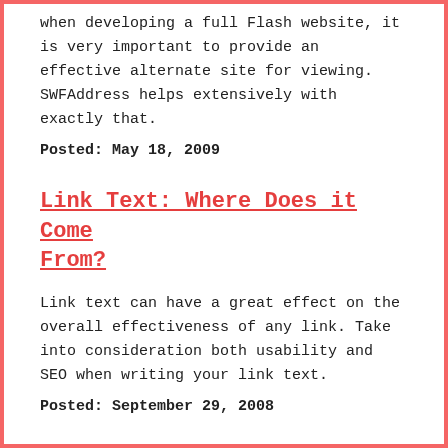when developing a full Flash website, it is very important to provide an effective alternate site for viewing. SWFAddress helps extensively with exactly that.
Posted: May 18, 2009
Link Text: Where Does it Come From?
Link text can have a great effect on the overall effectiveness of any link. Take into consideration both usability and SEO when writing your link text.
Posted: September 29, 2008